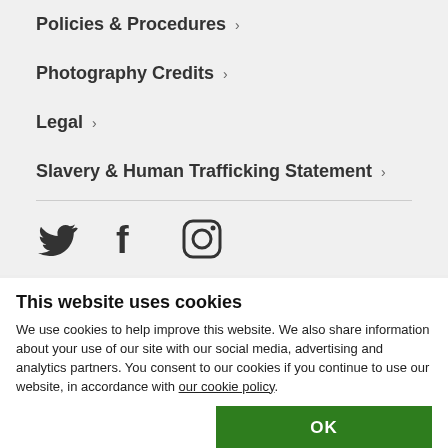Policies & Procedures >
Photography Credits >
Legal >
Slavery & Human Trafficking Statement >
[Figure (illustration): Social media icons: Twitter bird icon, Facebook f icon, Instagram camera icon]
This website uses cookies
We use cookies to help improve this website. We also share information about your use of our site with our social media, advertising and analytics partners. You consent to our cookies if you continue to use our website, in accordance with our cookie policy.
OK
Necessary  Preferences  Statistics  Marketing